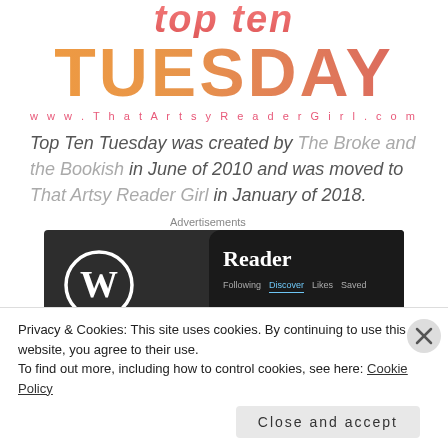[Figure (logo): Top Ten Tuesday logo with 'top ten' in red italic script above 'TUESDAY' in large orange-to-red gradient bold text, and 'www.ThatArtsyReaderGirl.com' in pink spaced letters below]
Top Ten Tuesday was created by The Broke and the Bookish in June of 2010 and was moved to That Artsy Reader Girl in January of 2018.
Advertisements
[Figure (screenshot): WordPress.com advertisement showing the WordPress logo on a dark background with a mobile reader interface panel showing 'Reader' title and navigation tabs: Following, Discover, Likes, Saved]
Privacy & Cookies: This site uses cookies. By continuing to use this website, you agree to their use.
To find out more, including how to control cookies, see here: Cookie Policy
Close and accept